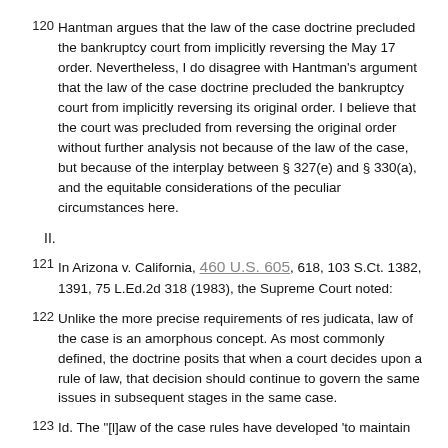120 Hantman argues that the law of the case doctrine precluded the bankruptcy court from implicitly reversing the May 17 order. Nevertheless, I do disagree with Hantman's argument that the law of the case doctrine precluded the bankruptcy court from implicitly reversing its original order. I believe that the court was precluded from reversing the original order without further analysis not because of the law of the case, but because of the interplay between § 327(e) and § 330(a), and the equitable considerations of the peculiar circumstances here.
II.
121 In Arizona v. California, 460 U.S. 605, 618, 103 S.Ct. 1382, 1391, 75 L.Ed.2d 318 (1983), the Supreme Court noted:
122 Unlike the more precise requirements of res judicata, law of the case is an amorphous concept. As most commonly defined, the doctrine posits that when a court decides upon a rule of law, that decision should continue to govern the same issues in subsequent stages in the same case.
123 Id. The "[l]aw of the case rules have developed 'to maintain